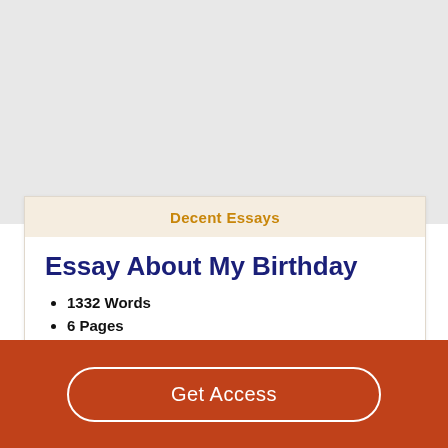Decent Essays
Essay About My Birthday
1332 Words
6 Pages
Every birthday is supposed to be special and happy right?
Get Access